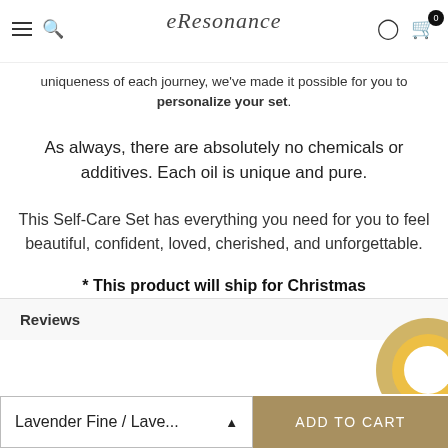eResonance
uniqueness of each journey, we've made it possible for you to personalize your set.
As always, there are absolutely no chemicals or additives. Each oil is unique and pure.
This Self-Care Set has everything you need for you to feel beautiful, confident, loved, cherished, and unforgettable.
* This product will ship for Christmas
Reviews
Lavender Fine / Lave...
ADD TO CART